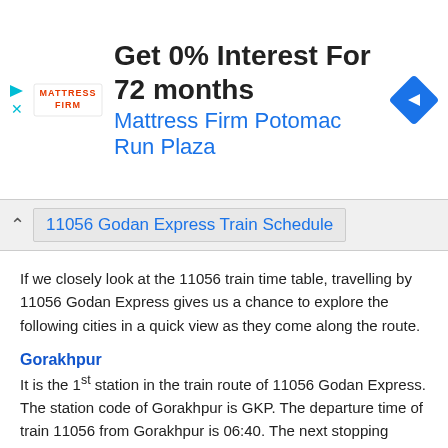[Figure (infographic): Advertisement banner: Mattress Firm logo on left, headline 'Get 0% Interest For 72 months', subline 'Mattress Firm Potomac Run Plaza', blue navigation diamond icon on right. Play and close icons on far left.]
11056 Godan Express Train Schedule
If we closely look at the 11056 train time table, travelling by 11056 Godan Express gives us a chance to explore the following cities in a quick view as they come along the route.
Gorakhpur
It is the 1st station in the train route of 11056 Godan Express. The station code of Gorakhpur is GKP. The departure time of train 11056 from Gorakhpur is 06:40. The next stopping station is Deoria Sadar at a distance of 49km.
Deoria Sadar
It is the 2nd station in the train route of 11056 Godan Express at a distance of 49 Km from the source station Gorakhpur. The station code of Deoria Sadar is DEOS. The